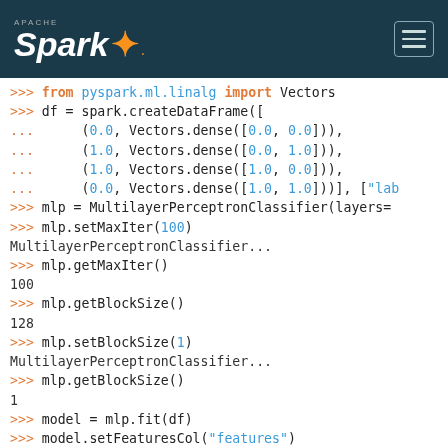Apache Spark logo and navigation
>>> from pyspark.ml.linalg import Vectors
>>> df = spark.createDataFrame([
...     (0.0, Vectors.dense([0.0, 0.0])),
...     (1.0, Vectors.dense([0.0, 1.0])),
...     (1.0, Vectors.dense([1.0, 0.0])),
...     (0.0, Vectors.dense([1.0, 1.0]))], ["lab
>>> mlp = MultilayerPerceptronClassifier(layers=
>>> mlp.setMaxIter(100)
MultilayerPerceptronClassifier...
>>> mlp.getMaxIter()
100
>>> mlp.getBlockSize()
128
>>> mlp.setBlockSize(1)
MultilayerPerceptronClassifier...
>>> mlp.getBlockSize()
1
>>> model = mlp.fit(df)
>>> model.setFeaturesCol("features")
MultilayerPerceptronClassificationModel...
>>> model.getMaxIter()
100
>>> model.getLayers()
[2, 2, 2]